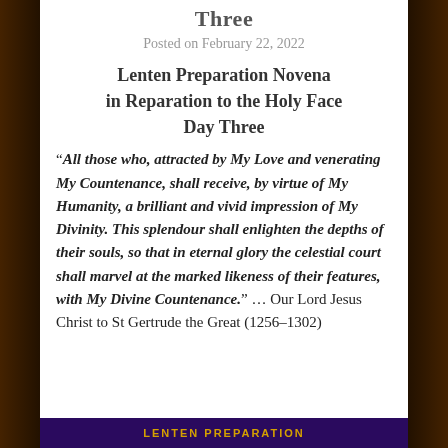Three
Posted on February 22, 2022
Lenten Preparation Novena in Reparation to the Holy Face Day Three
“All those who, attracted by My Love and venerating My Countenance, shall receive, by virtue of My Humanity, a brilliant and vivid impression of My Divinity. This splendour shall enlighten the depths of their souls, so that in eternal glory the celestial court shall marvel at the marked likeness of their features, with My Divine Countenance.” … Our Lord Jesus Christ to St Gertrude the Great (1256–1302)
LENTEN PREPARATION